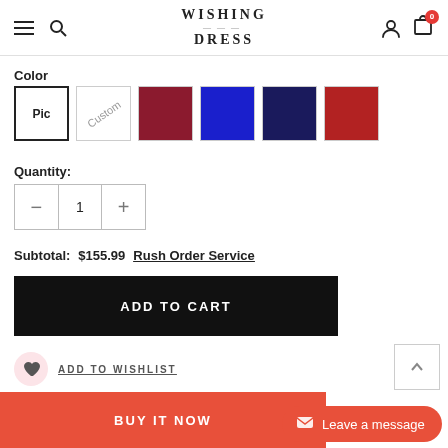WISHING DRESS
Color
[Figure (other): Color swatches: Pic (picture selector), Custom (diagonal text), Maroon, Blue, Navy, Red]
Quantity: 1
Subtotal: $155.99  Rush Order Service
ADD TO CART
ADD TO WISHLIST
BUY IT NOW
Leave a message